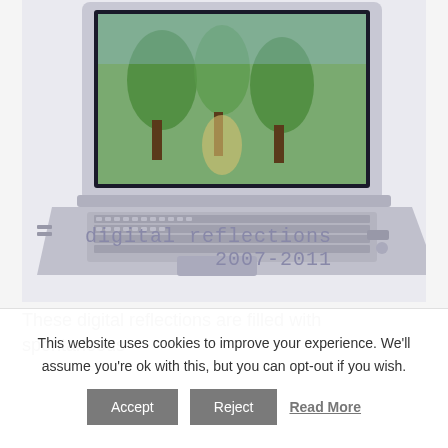[Figure (photo): Book cover showing a laptop computer with a nature scene on its screen, with the title 'digital reflections 2007-2011' in monospace font in the lower right area of the cover]
These digital reflections are filled with spontaneous
This website uses cookies to improve your experience. We'll assume you're ok with this, but you can opt-out if you wish.
Accept   Reject   Read More